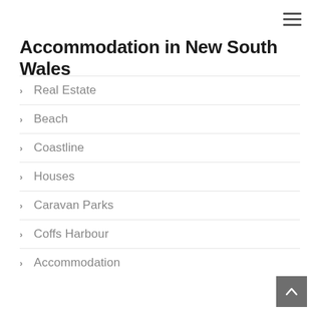Accommodation in New South Wales
Real Estate
Beach
Coastline
Houses
Caravan Parks
Coffs Harbour
Accommodation